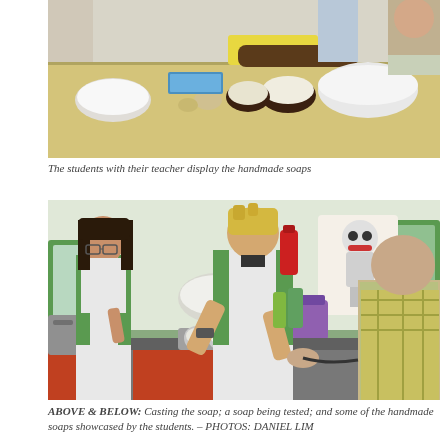[Figure (photo): Students and teacher displaying handmade soaps on a table with ingredients including a coconut log, bowls, and other items on a wooden table surface.]
The students with their teacher display the handmade soaps
[Figure (photo): A blonde boy in a green and white school uniform shirt pours liquid soap mixture from a bowl into circular moulds on a lab counter. A girl with glasses in the same uniform watches in the background. An adult male in a plaid shirt assists on the right. A cartoon scientist poster is visible on the wall.]
ABOVE & BELOW: Casting the soap; a soap being tested; and some of the handmade soaps showcased by the students. – PHOTOS: DANIEL LIM